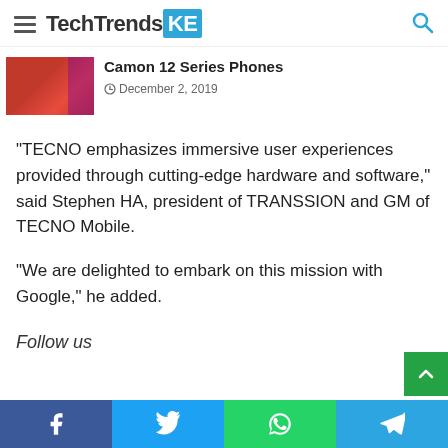TechTrendsKE
Camon 12 Series Phones
December 2, 2019
“TECNO emphasizes immersive user experiences provided through cutting-edge hardware and software,” said Stephen HA, president of TRANSSION and GM of TECNO Mobile.
“We are delighted to embark on this mission with Google,” he added.
Follow us